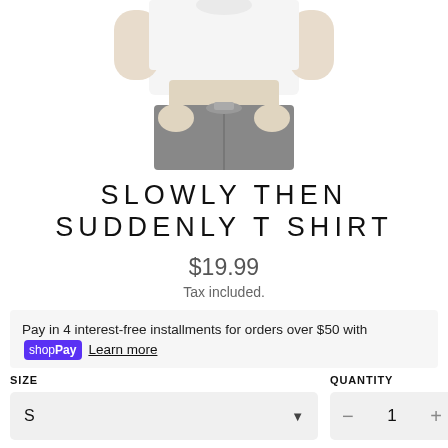[Figure (photo): Cropped photo of a person wearing a white t-shirt and grey jeans, showing torso and hands]
SLOWLY THEN SUDDENLY T SHIRT
$19.99
Tax included.
Pay in 4 interest-free installments for orders over $50 with shop Pay Learn more
SIZE
QUANTITY
S
1